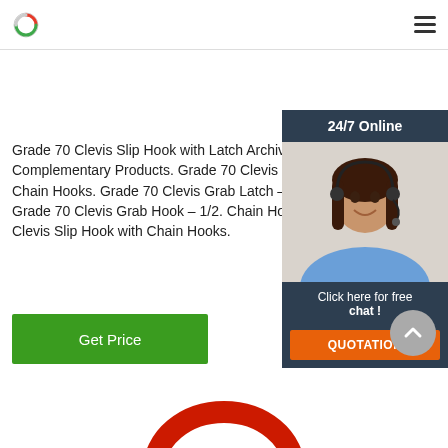Logo and navigation header
Grade 70 Clevis Slip Hook with Latch Archives - Complementary Products. Grade 70 Clevis Grab Latch – 5/16. Chain Hooks. Grade 70 Clevis Grab Latch – 3/8. Chain Hooks. Grade 70 Clevis Grab Hook – 1/2. Chain Hooks. Grade 70 Clevis Slip Hook with Chain Hooks.
[Figure (other): Green Get Price button]
[Figure (other): 24/7 Online chat widget with woman wearing headset, Click here for free chat text, and orange QUOTATION button]
[Figure (other): Gray circular scroll-to-top arrow button]
[Figure (other): Red ring/chain hook at bottom of page]